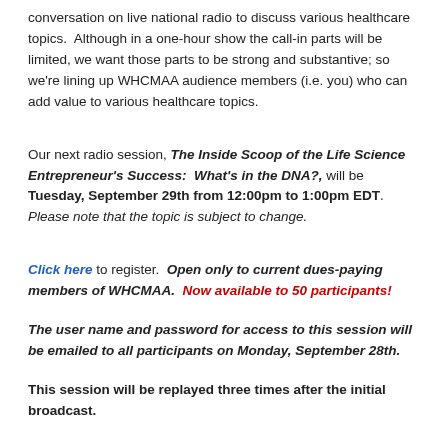conversation on live national radio to discuss various healthcare topics. Although in a one-hour show the call-in parts will be limited, we want those parts to be strong and substantive; so we're lining up WHCMAA audience members (i.e. you) who can add value to various healthcare topics.
Our next radio session, The Inside Scoop of the Life Science Entrepreneur's Success: What's in the DNA?, will be Tuesday, September 29th from 12:00pm to 1:00pm EDT. Please note that the topic is subject to change.
Click here to register. Open only to current dues-paying members of WHCMAA. Now available to 50 participants!
The user name and password for access to this session will be emailed to all participants on Monday, September 28th.
This session will be replayed three times after the initial broadcast.